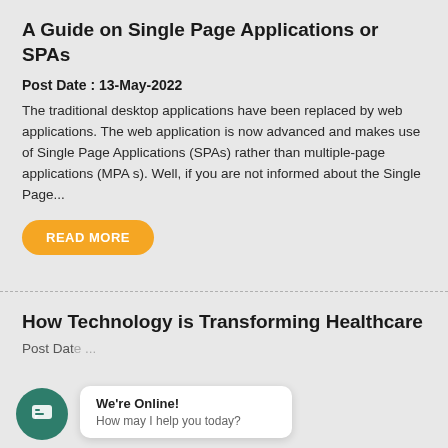A Guide on Single Page Applications or SPAs
Post Date : 13-May-2022
The traditional desktop applications have been replaced by web applications. The web application is now advanced and makes use of Single Page Applications (SPAs) rather than multiple-page applications (MPA s). Well, if you are not informed about the Single Page...
READ MORE
How Technology is Transforming Healthcare
We're Online! How may I help you today?